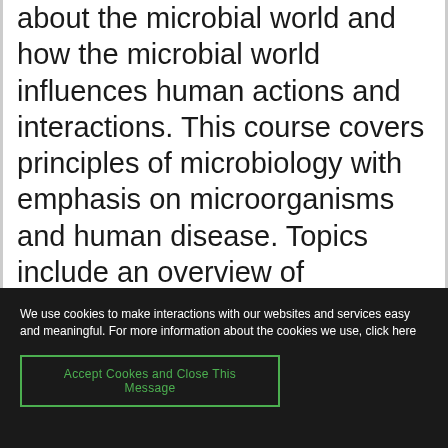about the microbial world and how the microbial world influences human actions and interactions. This course covers principles of microbiology with emphasis on microorganisms and human disease. Topics include an overview of microbiology and aspects of medical microbiology, microbial growth and control, microbial evolution, genetics, and genetic modification, the effects of
We use cookies to make interactions with our websites and services easy and meaningful. For more information about the cookies we use, click here
Accept Cookes and Close This Message